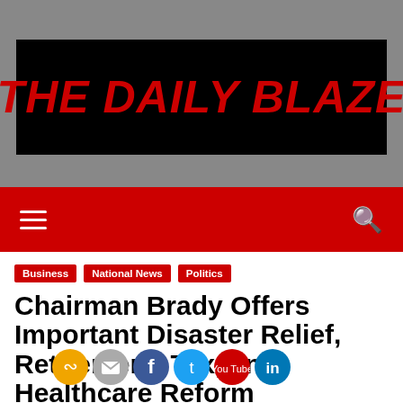THE DAILY BLAZE
[Figure (logo): The Daily Blaze newspaper logo: red bold italic text on black background]
Business | National News | Politics
Chairman Brady Offers Important Disaster Relief, Retirement, Tax, and Healthcare Reform